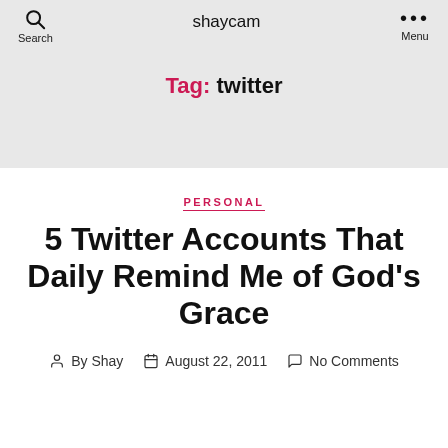shaycam
Tag: twitter
PERSONAL
5 Twitter Accounts That Daily Remind Me of God's Grace
By Shay   August 22, 2011   No Comments